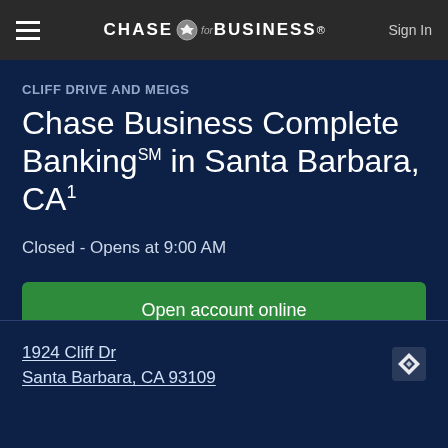CHASE for BUSINESS® Sign In
CLIFF DRIVE AND MEIGS
Chase Business Complete Banking℠ in Santa Barbara, CA¹
Closed - Opens at 9:00 AM
Open account online
1924 Cliff Dr
Santa Barbara, CA 93109